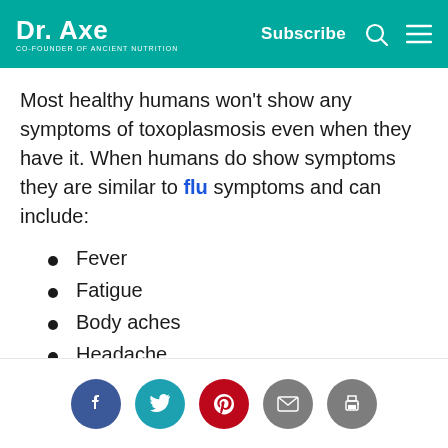Dr. Axe | Co-Founder of Ancient Nutrition | Subscribe
Most healthy humans won't show any symptoms of toxoplasmosis even when they have it. When humans do show symptoms they are similar to flu symptoms and can include:
Fever
Fatigue
Body aches
Headache
Swollen lymph nodes
For people with weakened immune systems, signs of toxoplasmosis are likely to be more intense and